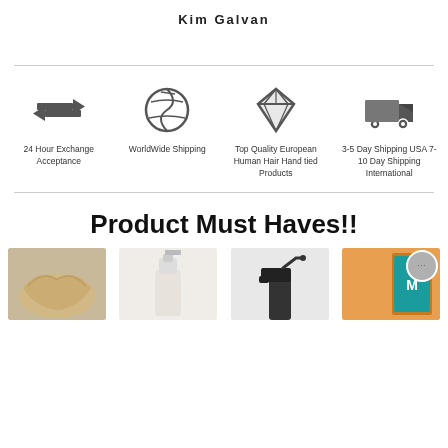Kim Galvan
[Figure (infographic): Four feature icons in a row: exchange arrows (24 Hour Exchange Acceptance), curly hair circle (WorldWide Shipping), diamond gem (Top Quality European Human Hair Hand tied Products), delivery truck (3-5 Day Shipping USA 7-10 Day Shipping International)]
Product Must Haves!!
[Figure (photo): Four product thumbnail images in a row: blonde hair piece, white pump bottle, black spray bottle, teal/orange Moroccanoil product with circular chat widget overlay]